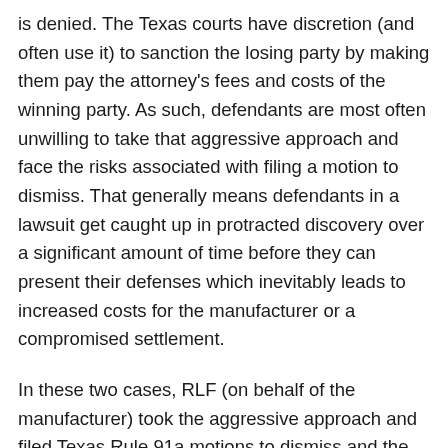is denied. The Texas courts have discretion (and often use it) to sanction the losing party by making them pay the attorney's fees and costs of the winning party. As such, defendants are most often unwilling to take that aggressive approach and face the risks associated with filing a motion to dismiss. That generally means defendants in a lawsuit get caught up in protracted discovery over a significant amount of time before they can present their defenses which inevitably leads to increased costs for the manufacturer or a compromised settlement.
In these two cases, RLF (on behalf of the manufacturer) took the aggressive approach and filed Texas Rule 91a motions to dismiss and the risk payed off. The first case originally alleged product defect concerning, among other things, the lack of a magazine disconnect (hardly a defect for anyone who uses a handgun for self-defense purposes) which led to the